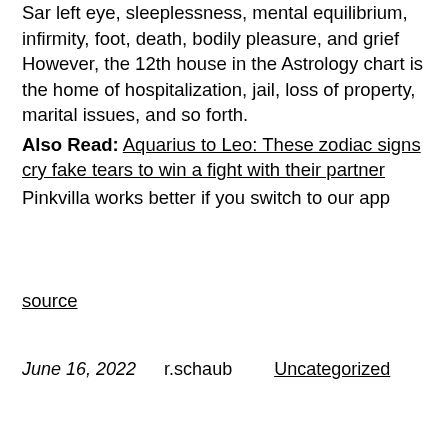infirmity, foot, death, bodily pleasure, and grief However, the 12th house in the Astrology chart is the home of hospitalization, jail, loss of property, marital issues, and so forth.
Also Read: Aquarius to Leo: These zodiac signs cry fake tears to win a fight with their partner
Pinkvilla works better if you switch to our app
source
June 16, 2022    r.schaub    Uncategorized